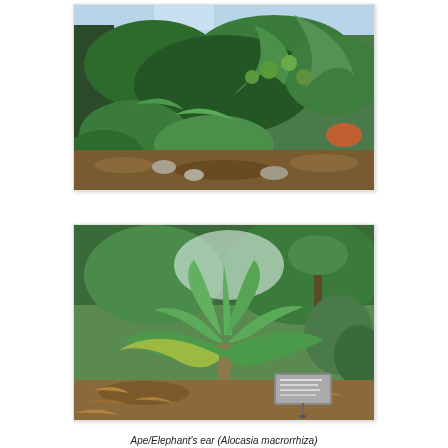[Figure (photo): Tropical garden scene showing dense green foliage with breadfruit-like large leaves, palm fronds, and round green fruits hanging from branches. Ground covered with leaf litter and rocks.]
[Figure (photo): Ape/Elephant's ear (Alocasia macrorrhiza) plant with large broad arrow-shaped leaves on thick stalks, growing in a garden setting with a small identification placard in front. Surrounded by other tropical plants and leaf litter.]
Ape/Elephant's ear (Alocasia macrorrhiza)